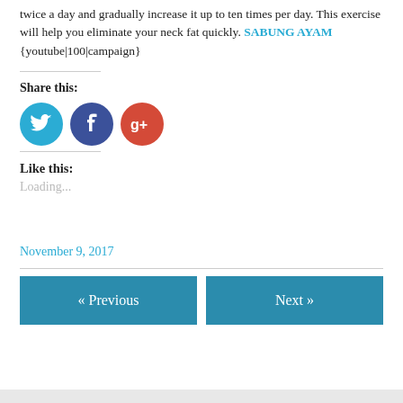twice a day and gradually increase it up to ten times per day. This exercise will help you eliminate your neck fat quickly. SABUNG AYAM {youtube|100|campaign}
Share this:
[Figure (illustration): Three social media icons: Twitter (blue circle), Facebook (dark blue circle), Google+ (red circle)]
Like this:
Loading...
November 9, 2017
« Previous
Next »